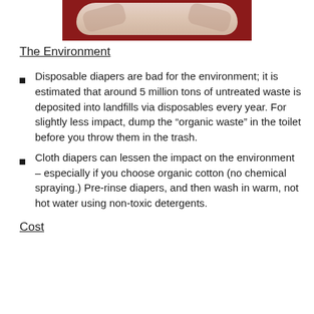[Figure (photo): Photo of diapers on a red background, partially cropped at top]
The Environment
Disposable diapers are bad for the environment; it is estimated that around 5 million tons of untreated waste is deposited into landfills via disposables every year. For slightly less impact, dump the “organic waste” in the toilet before you throw them in the trash.
Cloth diapers can lessen the impact on the environment – especially if you choose organic cotton (no chemical spraying.) Pre-rinse diapers, and then wash in warm, not hot water using non-toxic detergents.
Cost